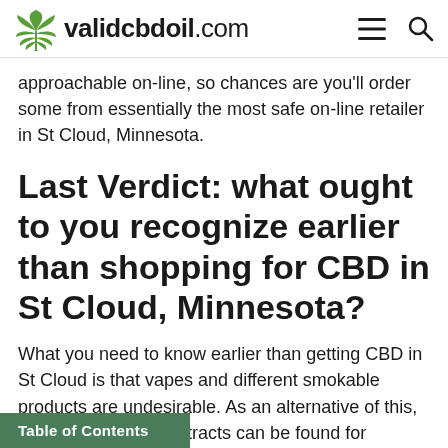validcbdoil.com
approachable on-line, so chances are you'll order some from essentially the most safe on-line retailer in St Cloud, Minnesota.
Last Verdict: what ought to you recognize earlier than shopping for CBD in St Cloud, Minnesota?
What you need to know earlier than getting CBD in St Cloud is that vapes and different smokable products are undesirable. As an alternative of this, oils, tinctures, and extracts can be found for sufferers who want marijuana for medical use. To get CBD products, you'll want to be a resident. So, in the event you reside outdoors St Cloud, to buy medical marijuana. So,
Table of Contents